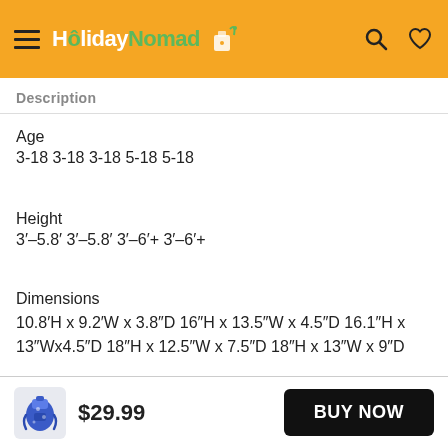HolidayNomad [logo with search and heart icons]
Description
Age
3-18 3-18 3-18 5-18 5-18
Height
3′–5.8′ 3′–5.8′ 3′–6′+ 3′–6′+
Dimensions
10.8′H x 9.2′W x 3.8″D 16″H x 13.5″W x 4.5″D 16.1″H x 13″Wx4.5″D 18″H x 12.5″W x 7.5″D 18″H x 13″W x 9″D
$29.99  BUY NOW